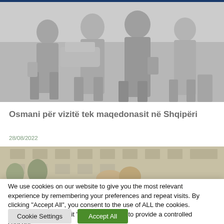[Figure (photo): People walking on a street, wearing business attire, carrying bags, blurred/muted image]
Osmani për vizitë tek maqedonasit në Shqipëri
28/08/2022
[Figure (photo): Exterior of a building with trees, blurred/muted image]
We use cookies on our website to give you the most relevant experience by remembering your preferences and repeat visits. By clicking "Accept All", you consent to the use of ALL the cookies. However, you may visit "Cookie Settings" to provide a controlled consent.
Cookie Settings | Accept All